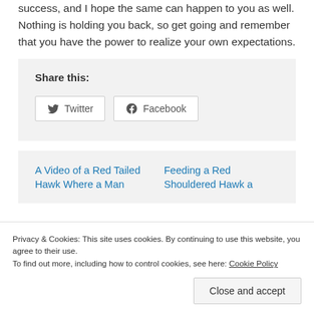success, and I hope the same can happen to you as well. Nothing is holding you back, so get going and remember that you have the power to realize your own expectations.
Share this:
[Figure (other): Share buttons for Twitter and Facebook]
A Video of a Red Tailed Hawk Where a Man
Feeding a Red Shouldered Hawk a
Privacy & Cookies: This site uses cookies. By continuing to use this website, you agree to their use.
To find out more, including how to control cookies, see here: Cookie Policy